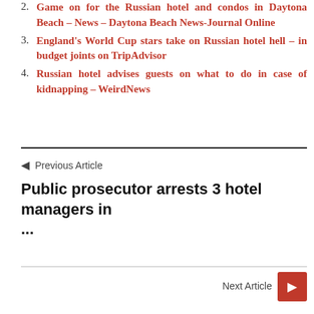2. Game on for the Russian hotel and condos in Daytona Beach – News – Daytona Beach News-Journal Online
3. England's World Cup stars take on Russian hotel hell – in budget joints on TripAdvisor
4. Russian hotel advises guests on what to do in case of kidnapping – WeirdNews
← Previous Article
Public prosecutor arrests 3 hotel managers in ...
Next Article →